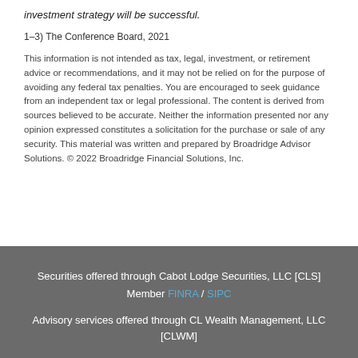investment strategy will be successful.
1–3) The Conference Board, 2021
This information is not intended as tax, legal, investment, or retirement advice or recommendations, and it may not be relied on for the purpose of avoiding any federal tax penalties. You are encouraged to seek guidance from an independent tax or legal professional. The content is derived from sources believed to be accurate. Neither the information presented nor any opinion expressed constitutes a solicitation for the purchase or sale of any security. This material was written and prepared by Broadridge Advisor Solutions. © 2022 Broadridge Financial Solutions, Inc.
Securities offered through Cabot Lodge Securities, LLC [CLS] Member FINRA / SIPC

Advisory services offered through CL Wealth Management, LLC [CLWM]